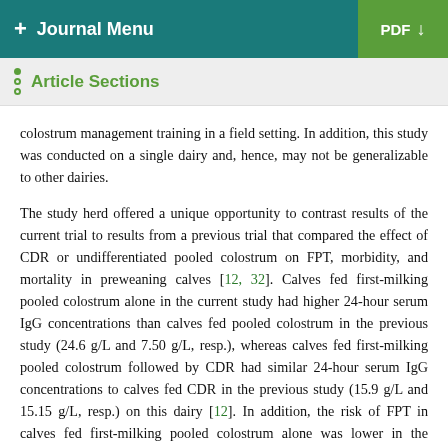+ Journal Menu  PDF ↓
Article Sections
colostrum management training in a field setting. In addition, this study was conducted on a single dairy and, hence, may not be generalizable to other dairies.
The study herd offered a unique opportunity to contrast results of the current trial to results from a previous trial that compared the effect of CDR or undifferentiated pooled colostrum on FPT, morbidity, and mortality in preweaning calves [12, 32]. Calves fed first-milking pooled colostrum alone in the current study had higher 24-hour serum IgG concentrations than calves fed pooled colostrum in the previous study (24.6 g/L and 7.50 g/L, resp.), whereas calves fed first-milking pooled colostrum followed by CDR had similar 24-hour serum IgG concentrations to calves fed CDR in the previous study (15.9 g/L and 15.15 g/L, resp.) on this dairy [12]. In addition, the risk of FPT in calves fed first-milking pooled colostrum alone was lower in the current study (0.0%, n = 58) compared to in the earlier study (70%, n = 269) [12]. Differences in the 24-hour serum IgG concentrations and